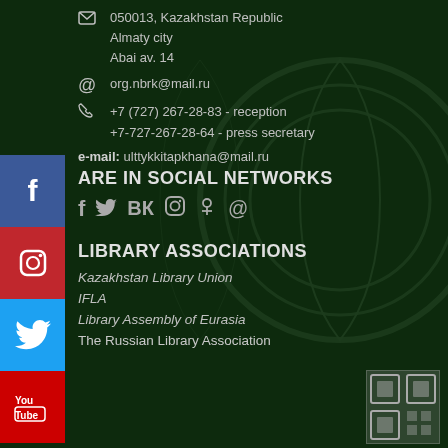050013, Kazakhstan Republic
Almaty city
Abai av. 14
org.nbrk@mail.ru
+7 (727) 267-28-83 - reception
+7-727-267-28-64 - press secretary
e-mail: ulttykkitapkhana@mail.ru
ARE IN SOCIAL NETWORKS
[Figure (infographic): Social network icons row: f (Facebook), Twitter bird, VK, Instagram, Odnoklassniki, @]
LIBRARY ASSOCIATIONS
Kazakhstan Library Union
IFLA
Library Assembly of Eurasia
The Russian Library Association